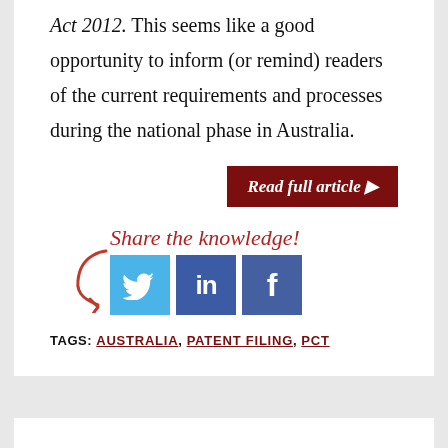Act 2012.  This seems like a good opportunity to inform (or remind) readers of the current requirements and processes during the national phase in Australia.
[Figure (other): Dark red button with white bold italic text 'Read full article ▶']
[Figure (infographic): Share the knowledge! text in red italic with curved arrow, and three social media icons: Twitter (light blue), LinkedIn (dark blue), Facebook (dark blue)]
TAGS: AUSTRALIA, PATENT FILING, PCT